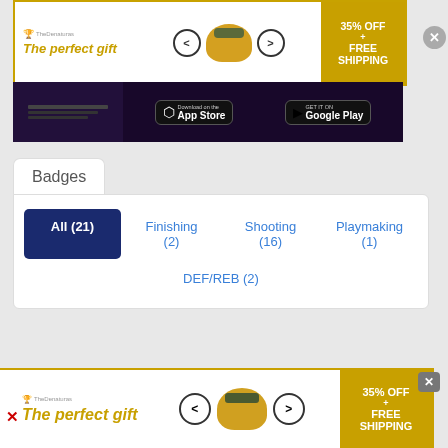[Figure (screenshot): Advertisement banner: 'The perfect gift' with bowl image and '35% OFF + FREE SHIPPING']
[Figure (screenshot): App download banner with App Store and Google Play buttons]
Badges
All (21) | Finishing (2) | Shooting (16) | Playmaking (1) | DEF/REB (2)
Clutch Shooter — Shooting Badge — Increases the ability to knock down shots in
[Figure (screenshot): Bottom advertisement banner: 'The perfect gift' with '35% OFF + FREE SHIPPING']